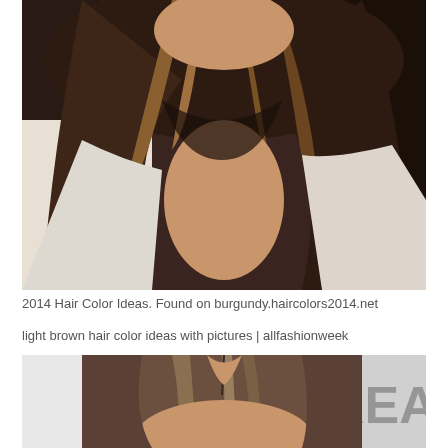[Figure (photo): Woman with long brown hair with highlights, wearing a white top, close-up upper body shot]
2014 Hair Color Ideas. Found on burgundy.haircolors2014.net
light brown hair color ideas with pictures | allfashionweek
[Figure (photo): Woman with light brown hair with highlights, head and shoulders shot, partial 'REA' text visible in background]